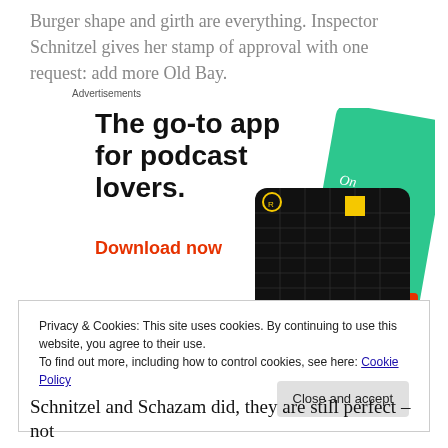Burger shape and girth are everything. Inspector Schnitzel gives her stamp of approval with one request: add more Old Bay.
Advertisements
[Figure (illustration): Advertisement for a podcast app. Bold black text reads 'The go-to app for podcast lovers.' with red bold text 'Download now'. On the right are illustrated app cards including a 99% Invisible podcast card (black with yellow square and grid lines) and a green card partially visible.]
Privacy & Cookies: This site uses cookies. By continuing to use this website, you agree to their use.
To find out more, including how to control cookies, see here: Cookie Policy
Schnitzel and Schazam did, they are still perfect – not